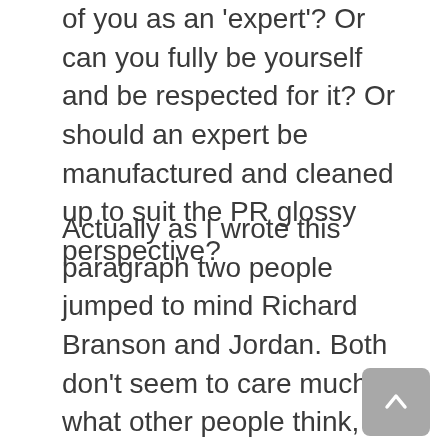of you as an 'expert'? Or can you fully be yourself and be respected for it? Or should an expert be manufactured and cleaned up to suit the PR glossy perspective?
Actually as I wrote this paragraph two people jumped to mind Richard Branson and Jordan. Both don't seem to care much what other people think, only one uses PR blatantly for self-promotion no matter how bad or ugly she is portrayed and the other is more strategic with quirky pr stunts and whilst he has an air of not caring, a lot of the persona is private and again that could also be a strategy.
I had an interesting conversation about this with a friend at the weekend. I am known for